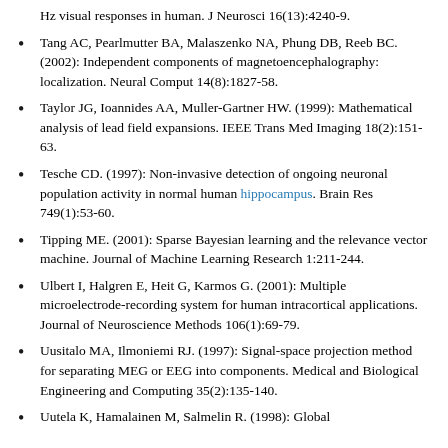Hz visual responses in human. J Neurosci 16(13):4240-9.
Tang AC, Pearlmutter BA, Malaszenko NA, Phung DB, Reeb BC. (2002): Independent components of magnetoencephalography: localization. Neural Comput 14(8):1827-58.
Taylor JG, Ioannides AA, Muller-Gartner HW. (1999): Mathematical analysis of lead field expansions. IEEE Trans Med Imaging 18(2):151-63.
Tesche CD. (1997): Non-invasive detection of ongoing neuronal population activity in normal human hippocampus. Brain Res 749(1):53-60.
Tipping ME. (2001): Sparse Bayesian learning and the relevance vector machine. Journal of Machine Learning Research 1:211-244.
Ulbert I, Halgren E, Heit G, Karmos G. (2001): Multiple microelectrode-recording system for human intracortical applications. Journal of Neuroscience Methods 106(1):69-79.
Uusitalo MA, Ilmoniemi RJ. (1997): Signal-space projection method for separating MEG or EEG into components. Medical and Biological Engineering and Computing 35(2):135-140.
Uutela K, Hamalainen M, Salmelin R. (1998): Global